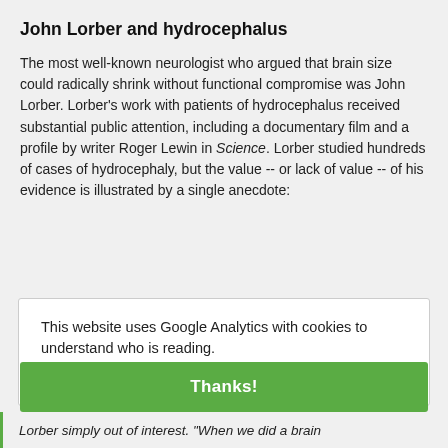John Lorber and hydrocephalus
The most well-known neurologist who argued that brain size could radically shrink without functional compromise was John Lorber. Lorber’s work with patients of hydrocephalus received substantial public attention, including a documentary film and a profile by writer Roger Lewin in Science. Lorber studied hundreds of cases of hydrocephaly, but the value -- or lack of value -- of his evidence is illustrated by a single anecdote:
This website uses Google Analytics with cookies to understand who is reading.
Privacy policy
Thanks!
Lorber simply out of interest. "When we did a brain